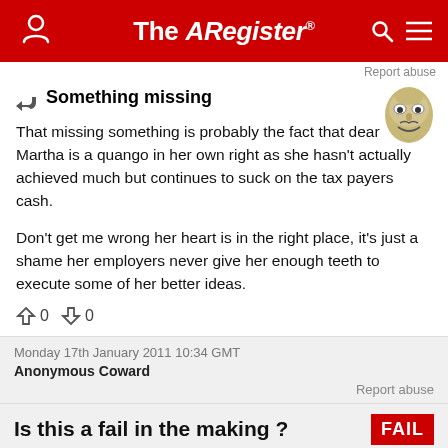The Register
Report abuse
Something missing
[Figure (illustration): Guy Fawkes / Anonymous mask avatar image]
That missing something is probably the fact that dear Martha is a quango in her own right as she hasn't actually achieved much but continues to suck on the tax payers cash.

Don't get me wrong her heart is in the right place, it's just a shame her employers never give her enough teeth to execute some of her better ideas.
↑0  ↓0
Monday 17th January 2011 10:34 GMT
Anonymous Coward
Report abuse
Is this a fail in the making ?
[Figure (illustration): Red FAIL badge/label]